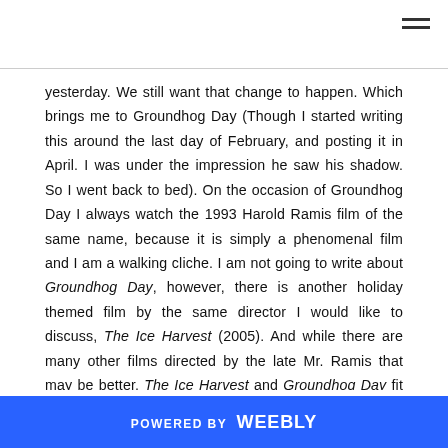[Figure (other): Hamburger menu icon (three horizontal lines) in top right corner]
yesterday. We still want that change to happen. Which brings me to Groundhog Day (Though I started writing this around the last day of February, and posting it in April. I was under the impression he saw his shadow. So I went back to bed). On the occasion of Groundhog Day I always watch the 1993 Harold Ramis film of the same name, because it is simply a phenomenal film and I am a walking cliche. I am not going to write about Groundhog Day, however, there is another holiday themed film by the same director I would like to discuss, The Ice Harvest (2005). And while there are many other films directed by the late Mr. Ramis that may be better, The Ice Harvest and Groundhog Day fit nicely into a February 2nd double feature. Both are philosophical, darkly comedic, and
POWERED BY weebly